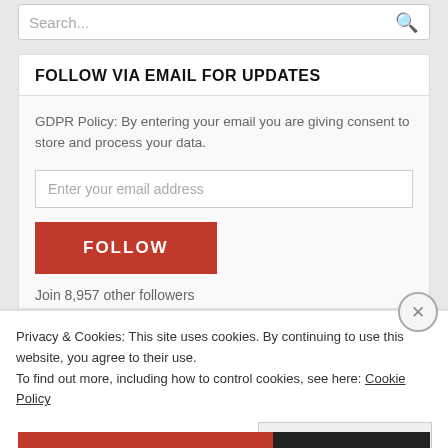Search...
FOLLOW VIA EMAIL FOR UPDATES
GDPR Policy: By entering your email you are giving consent to store and process your data.
Enter your email address
FOLLOW
Join 8,957 other followers
Privacy & Cookies: This site uses cookies. By continuing to use this website, you agree to their use.
To find out more, including how to control cookies, see here: Cookie Policy
Close and accept